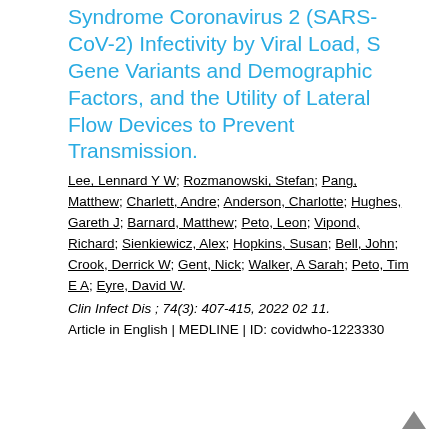Syndrome Coronavirus 2 (SARS-CoV-2) Infectivity by Viral Load, S Gene Variants and Demographic Factors, and the Utility of Lateral Flow Devices to Prevent Transmission.
Lee, Lennard Y W; Rozmanowski, Stefan; Pang, Matthew; Charlett, Andre; Anderson, Charlotte; Hughes, Gareth J; Barnard, Matthew; Peto, Leon; Vipond, Richard; Sienkiewicz, Alex; Hopkins, Susan; Bell, John; Crook, Derrick W; Gent, Nick; Walker, A Sarah; Peto, Tim E A; Eyre, David W.
Clin Infect Dis ; 74(3): 407-415, 2022 02 11.
Article in English | MEDLINE | ID: covidwho-1223330